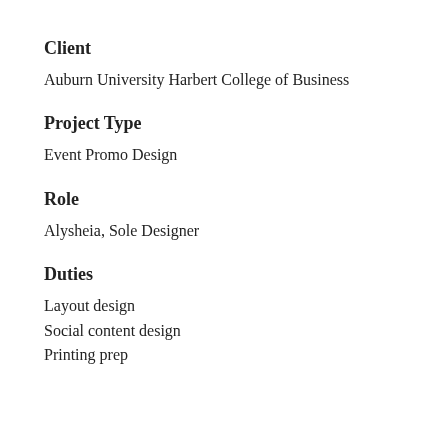Client
Auburn University Harbert College of Business
Project Type
Event Promo Design
Role
Alysheia, Sole Designer
Duties
Layout design
Social content design
Printing prep